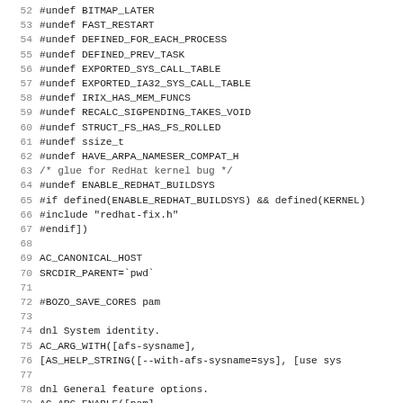Code listing lines 52-83, showing preprocessor directives and autoconf macros
52 #undef BITMAP_LATER
53 #undef FAST_RESTART
54 #undef DEFINED_FOR_EACH_PROCESS
55 #undef DEFINED_PREV_TASK
56 #undef EXPORTED_SYS_CALL_TABLE
57 #undef EXPORTED_IA32_SYS_CALL_TABLE
58 #undef IRIX_HAS_MEM_FUNCS
59 #undef RECALC_SIGPENDING_TAKES_VOID
60 #undef STRUCT_FS_HAS_FS_ROLLED
61 #undef ssize_t
62 #undef HAVE_ARPA_NAMESER_COMPAT_H
63 /* glue for RedHat kernel bug */
64 #undef ENABLE_REDHAT_BUILDSYS
65 #if defined(ENABLE_REDHAT_BUILDSYS) && defined(KERNEL)
66 #include "redhat-fix.h"
67 #endif])
68 
69 AC_CANONICAL_HOST
70 SRCDIR_PARENT=`pwd`
71 
72 #BOZO_SAVE_CORES pam
73 
74 dnl System identity.
75 AC_ARG_WITH([afs-sysname],
76      [AS_HELP_STRING([--with-afs-sysname=sys], [use sys
77 
78 dnl General feature options.
79 AC_ARG_ENABLE([pam],
80      [AS_HELP_STRING([--disable-pam], [disable PAM suppo
81      ,
82      [enable_pam="yes"])
83 AC_ARG_ENABLE([namei-fileserver],